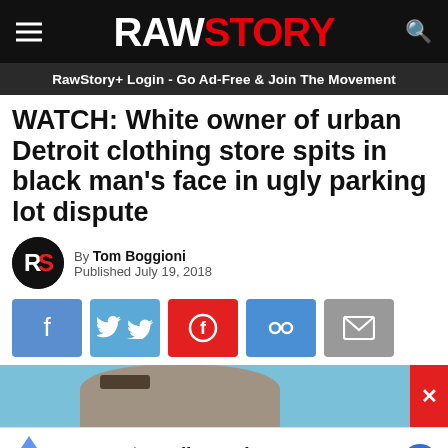RAWSTORY
RawStory+ Login - Go Ad-Free & Join The Movement
WATCH: White owner of urban Detroit clothing store spits in black man's face in ugly parking lot dispute
By Tom Boggioni
Published July 19, 2018
[Figure (infographic): Social sharing buttons: Facebook, Twitter, Flipboard, Link, Email]
[Figure (photo): Partial photo of a person's face, blue background, with red X close button]
Get Up To $110 Off a Set of 4 Select Firestone Tires